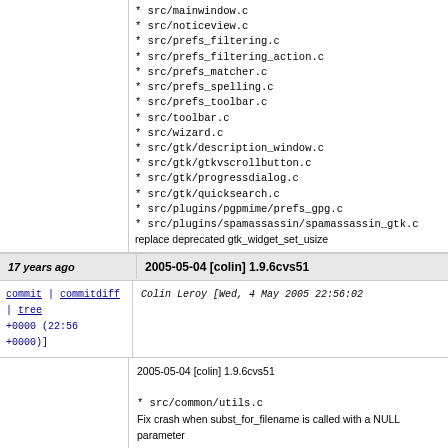* src/mainwindow.c
* src/noticeview.c
* src/prefs_filtering.c
* src/prefs_filtering_action.c
* src/prefs_matcher.c
* src/prefs_spelling.c
* src/prefs_toolbar.c
* src/toolbar.c
* src/wizard.c
* src/gtk/description_window.c
* src/gtk/gtkvscrollbutton.c
* src/gtk/progressdialog.c
* src/gtk/quicksearch.c
* src/plugins/pgpmime/prefs_gpg.c
* src/plugins/spamassassin/spamassassin_gtk.c
replace deprecated gtk_widget_set_usize
17 years ago
2005-05-04 [colin] 1.9.6cvs51
commit | commitdiff | tree
+0000 (22:56 +0000)]
Colin Leroy [Wed, 4 May 2005 22:56:02 +0000 (22:56 +0000)]
2005-05-04 [colin] 1.9.6cvs51

* src/common/utils.c
Fix crash when subst_for_filename is called with a NULL parameter